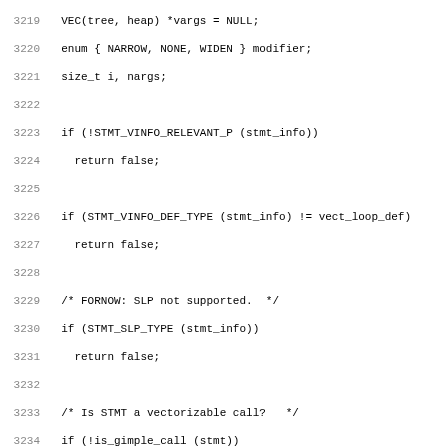Code listing lines 3219-3250, C source code for vectorization analysis